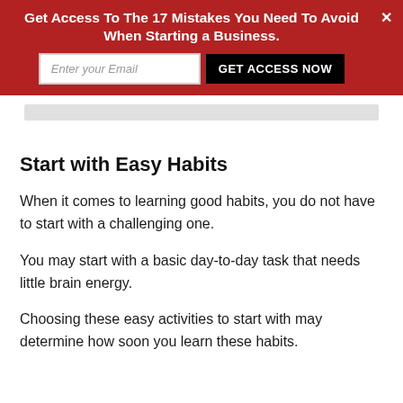Get Access To The 17 Mistakes You Need To Avoid When Starting a Business.
Start with Easy Habits
When it comes to learning good habits, you do not have to start with a challenging one.
You may start with a basic day-to-day task that needs little brain energy.
Choosing these easy activities to start with may determine how soon you learn these habits.